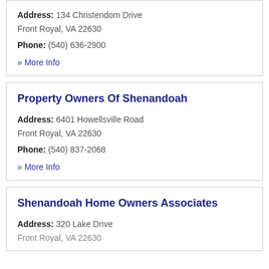Address: 134 Christendom Drive Front Royal, VA 22630
Phone: (540) 636-2900
» More Info
Property Owners Of Shenandoah
Address: 6401 Howellsville Road Front Royal, VA 22630
Phone: (540) 837-2068
» More Info
Shenandoah Home Owners Associates
Address: 320 Lake Drive Front Royal, VA 22630